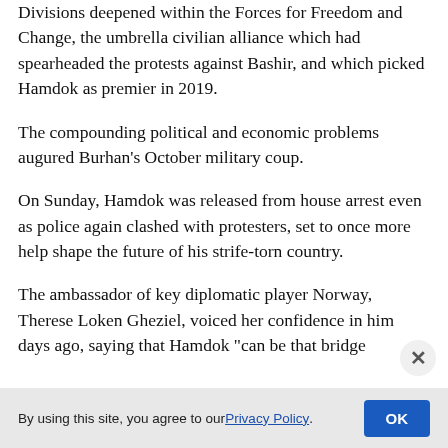Divisions deepened within the Forces for Freedom and Change, the umbrella civilian alliance which had spearheaded the protests against Bashir, and which picked Hamdok as premier in 2019.
The compounding political and economic problems augured Burhan's October military coup.
On Sunday, Hamdok was released from house arrest even as police again clashed with protesters, set to once more help shape the future of his strife-torn country.
The ambassador of key diplomatic player Norway, Therese Loken Gheziel, voiced her confidence in him days ago, saying that Hamdok "can be that bridge
By using this site, you agree to our Privacy Policy. OK